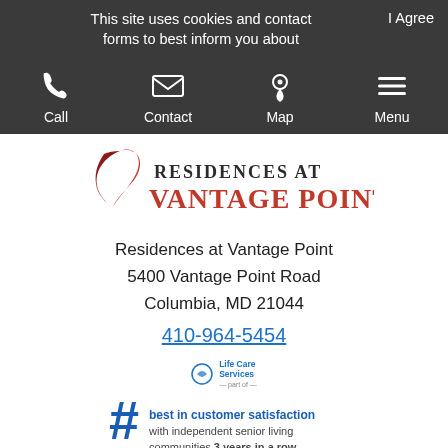This site uses cookies and contact forms to best inform you about   I Agree
[Figure (screenshot): Navigation bar with Call, Contact, Map, Menu icons on dark background]
[Figure (logo): Residences at Vantage Point logo with red swoosh and dark/red text]
Residences at Vantage Point
5400 Vantage Point Road
Columbia, MD 21044
410-964-5454
[Figure (infographic): Life Care Services #1 best in customer satisfaction with independent senior living communities 3 years in a row. For J.D. Power 2021 award information, visit jdpower.com/awards]
[Figure (photo): Three award medallions partially visible at bottom of page]